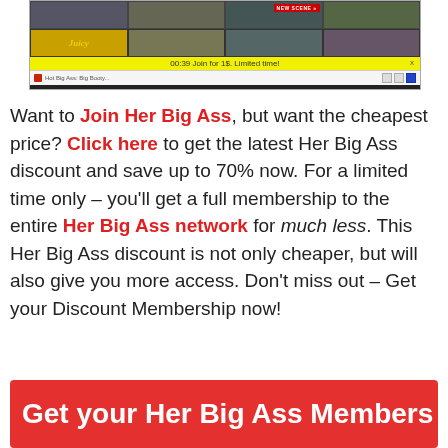[Figure (screenshot): Screenshot of an adult website player with a yellow notification bar reading '00:39 Join for 1$. Limited time!' and a browser-style footer bar.]
Want to Join Her Big Ass, but want the cheapest price? Click here to get the latest Her Big Ass discount and save up to 70% now. For a limited time only – you'll get a full membership to the entire Her Big Ass network for much less. This Her Big Ass discount is not only cheaper, but will also give you more access. Don't miss out – Get your Discount Membership now!
Get your Her Big Ass Members